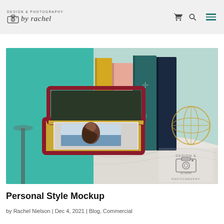Design & Photography by Rachel — navigation header with logo, cart icon, search icon, and hamburger menu
[Figure (photo): A decorative photo box styled like a book with a dark green lid and red/gold spine, open to reveal a stack of printed photos with a portrait photo on top. The box sits on a white marble surface. Behind it stand several vintage books in colors including yellow, pink, teal, and dark blue. A gold geometric sphere decoration is visible in the right background. A Design & Photography by Rachel watermark logo is in the lower right of the image.]
Personal Style Mockup
by Rachel Nielson | Dec 4, 2021 | Blog, Commercial